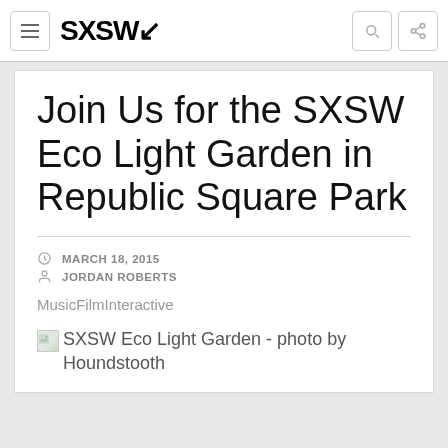SXSW
Join Us for the SXSW Eco Light Garden in Republic Square Park
MARCH 18, 2015
JORDAN ROBERTS
MusicFilmInteractive
SXSW Eco Light Garden - photo by Houndstooth